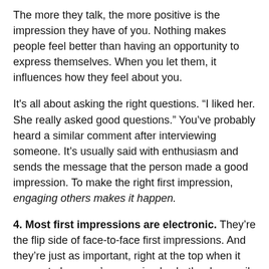The more they talk, the more positive is the impression they have of you. Nothing makes people feel better than having an opportunity to express themselves. When you let them, it influences how they feel about you.
It's all about asking the right questions. “I liked her. She really asked good questions.” You’ve probably heard a similar comment after interviewing someone. It’s usually said with enthusiasm and sends the message that the person made a good impression. To make the right first impression, engaging others makes it happen.
4. Most first impressions are electronic. They’re the flip side of face-to-face first impressions. And they’re just as important, right at the top when it comes to how you’re perceived, whether by email, social media, blogs, a website, or on the phone. And talk about indelible; they’re etched in the Internet.